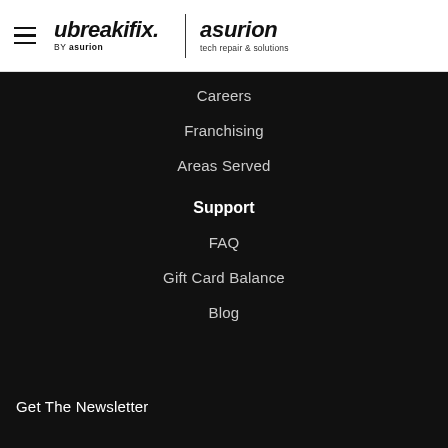[Figure (logo): ubreakifix by asurion | asurion tech repair & solutions logo with hamburger menu icon]
Careers
Franchising
Areas Served
Support
FAQ
Gift Card Balance
Blog
Get The Newsletter
Enter Your Email
Send